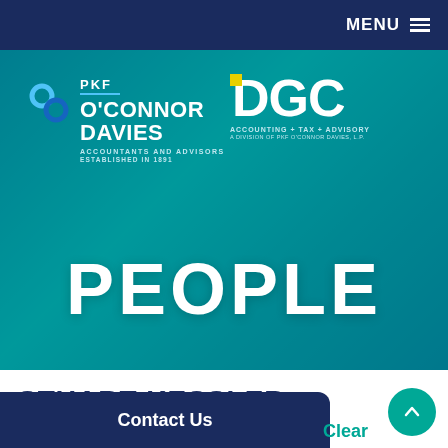MENU
[Figure (screenshot): Hero banner image showing two smiling professionals with teal color overlay. Contains PKF O'Connor Davies logo (Accountants and Advisors, Established in 1891) and DGC (Accounting + Tax + Advisory, A Division of PKF O'Connor Davies, L.P.) logo. Large white text 'PEOPLE' overlaid in center.]
STUART KESSLER
Contact Us
Clear